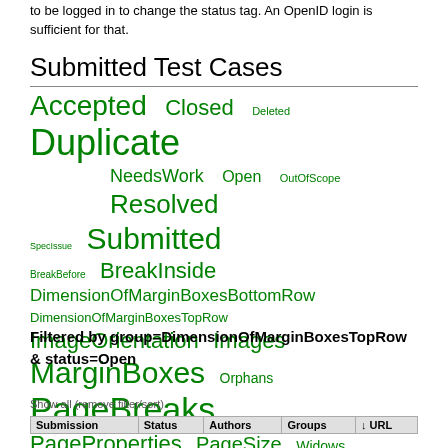to be logged in to change the status tag. An OpenID login is sufficient for that.
Submitted Test Cases
[Figure (infographic): Tag cloud of test case status and group filters in green text at various font sizes: Accepted, Closed, Deleted, Duplicate, NeedsWork, Open, OutOfScope, Resolved, SpecIssue, Submitted, BreakBefore, BreakInside, DimensionOfMarginBoxesBottomRow, DimensionOfMarginBoxesTopRow, ImageOrientation, Images, MarginBoxes, Orphans, PageBreaks, PageProperties, PageSize, Widows]
Filtered by group=DimensionOfMarginBoxesTopRow & status=Open
Show all (remove filter/sort)
| Submission | Status | Authors | Groups | ↓ URL |
| --- | --- | --- | --- | --- |